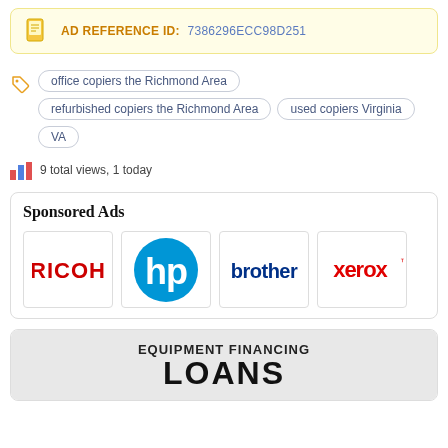AD REFERENCE ID: 7386296ECC98D251
office copiers the Richmond Area
refurbished copiers the Richmond Area
used copiers Virginia
VA
9 total views, 1 today
Sponsored Ads
[Figure (logo): RICOH brand logo in red text]
[Figure (logo): HP logo — blue circle with white hp letters]
[Figure (logo): brother logo in dark blue text]
[Figure (logo): xerox logo in red text with trademark symbol]
[Figure (infographic): Equipment Financing LOANS banner with grey background]